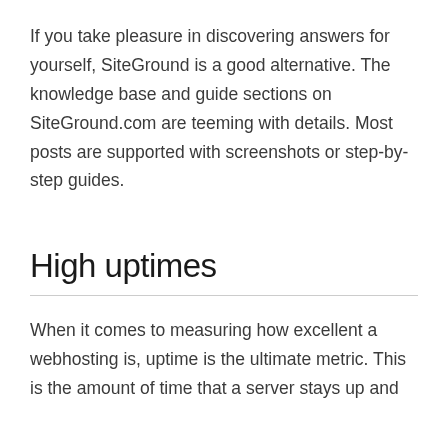If you take pleasure in discovering answers for yourself, SiteGround is a good alternative. The knowledge base and guide sections on SiteGround.com are teeming with details. Most posts are supported with screenshots or step-by-step guides.
High uptimes
When it comes to measuring how excellent a webhosting is, uptime is the ultimate metric. This is the amount of time that a server stays up and